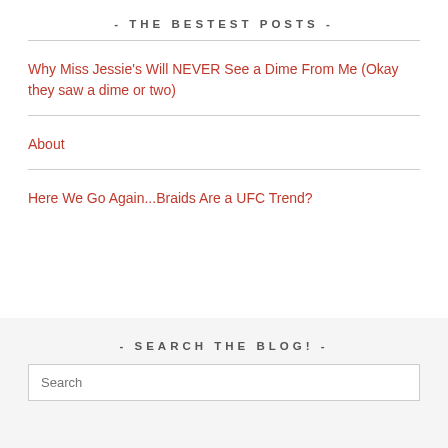- THE BESTEST POSTS -
Why Miss Jessie's Will NEVER See a Dime From Me (Okay they saw a dime or two)
About
Here We Go Again...Braids Are a UFC Trend?
- SEARCH THE BLOG! -
Search